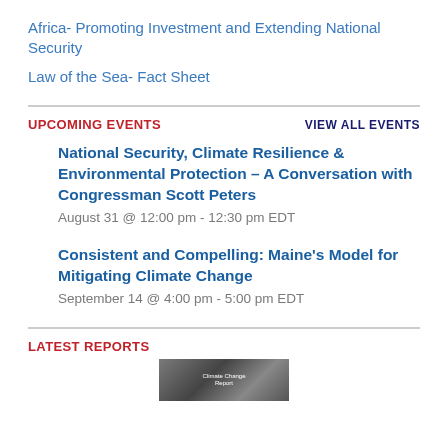Africa- Promoting Investment and Extending National Security
Law of the Sea- Fact Sheet
Upcoming Events
VIEW ALL EVENTS
National Security, Climate Resilience & Environmental Protection – A Conversation with Congressman Scott Peters
August 31 @ 12:00 pm - 12:30 pm EDT
Consistent and Compelling: Maine's Model for Mitigating Climate Change
September 14 @ 4:00 pm - 5:00 pm EDT
Latest Reports
[Figure (photo): Thumbnail image for a report, partially visible at the bottom of the page]